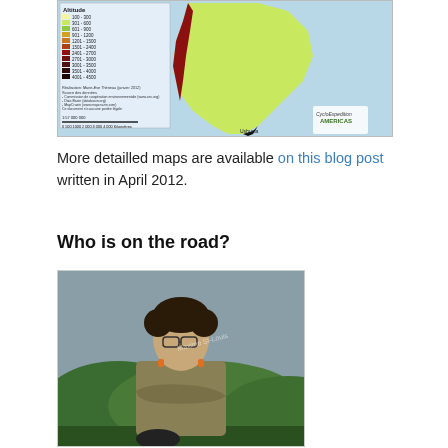[Figure (map): Altitude map of South America showing elevation in color gradients from sea level (green/yellow) to high altitude (red/dark). Legend shows altitude ranges in metres. Scale 1:57,000,000. Realisation: Marie-Eve Thereau (janvier 2012). Shows CycloExpedition Americas logo. Ushuaia labeled at bottom.]
More detailled maps are available on this blog post written in April 2012.
Who is on the road?
[Figure (photo): Photo of a young man with glasses and curly hair wearing a khaki/olive jacket, arms crossed, standing outdoors with green hills and overcast sky in background.]